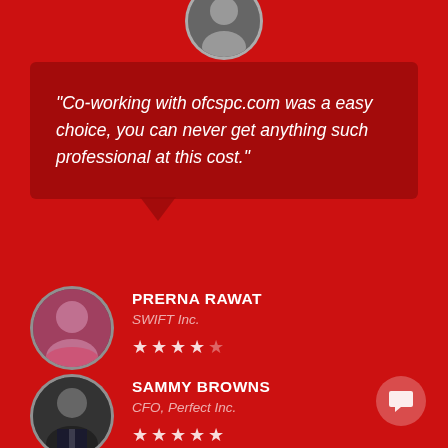"Co-working with ofcspc.com was a easy choice, you can never get anything such professional at this cost."
PRERNA RAWAT
SWIFT Inc.
★★★★☆
SAMMY BROWNS
CFO, Perfect Inc.
★★★★★